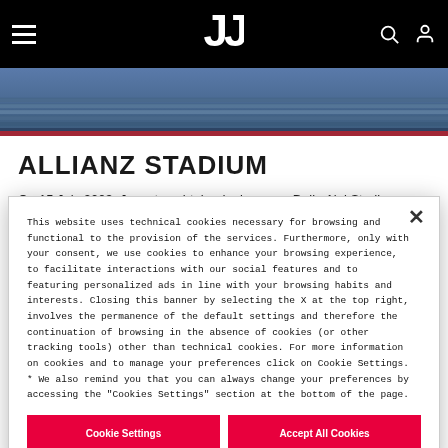Juventus website header with hamburger menu, Juventus logo, search and user icons
[Figure (photo): Allianz Stadium aerial/interior photo banner showing stadium seating rows in blue and grey tones]
ALLIANZ STADIUM
On 15 July 2003, Juventus obtained a lease on Delle Alpi Stadium
This website uses technical cookies necessary for browsing and functional to the provision of the services. Furthermore, only with your consent, we use cookies to enhance your browsing experience, to facilitate interactions with our social features and to featuring personalized ads in line with your browsing habits and interests. Closing this banner by selecting the X at the top right, involves the permanence of the default settings and therefore the continuation of browsing in the absence of cookies (or other tracking tools) other than technical cookies. For more information on cookies and to manage your preferences click on Cookie Settings. * We also remind you that you can always change your preferences by accessing the "Cookies Settings" section at the bottom of the page.
Cookie Settings | Accept All Cookies